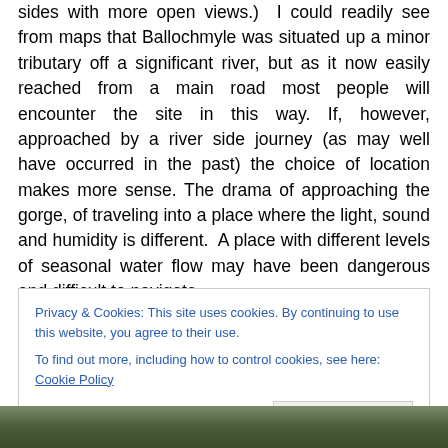sides with more open views.)  I could readily see from maps that Ballochmyle was situated up a minor tributary off a significant river, but as it now easily reached from a main road most people will encounter the site in this way. If, however, approached by a river side journey (as may well have occurred in the past) the choice of location makes more sense. The drama of approaching the gorge, of traveling into a place where the light, sound and humidity is different.  A place with different levels of seasonal water flow may have been dangerous and difficult to navigate.
Privacy & Cookies: This site uses cookies. By continuing to use this website, you agree to their use.
To find out more, including how to control cookies, see here: Cookie Policy
[Figure (photo): Partial photo strip at the bottom of the page showing a wooded/rocky outdoor scene]